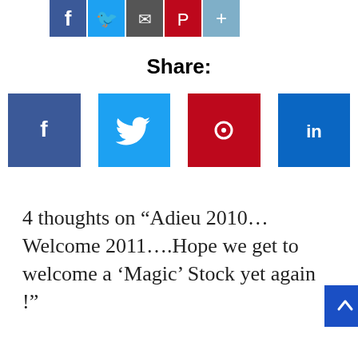[Figure (screenshot): Row of small social sharing icon buttons at top: Facebook (blue), Twitter (light blue), Email (dark gray), Pinterest (red), Add/More (blue-gray)]
Share:
[Figure (screenshot): Four large social share buttons in a row: Facebook (dark blue with f icon), Twitter (light blue with bird icon), Pinterest (dark red with P icon), LinkedIn (blue with in icon)]
4 thoughts on “Adieu 2010… Welcome 2011….Hope we get to welcome a ‘Magic’ Stock yet again !”